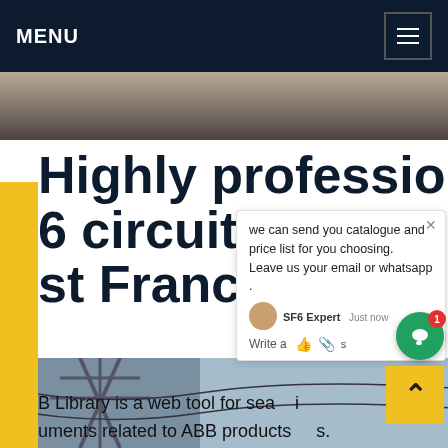MENU
[Figure (photo): Partial view of industrial equipment or ceiling, dark tones]
Highly professional abb 6 circuit breaker st France
B Library is a web tool for sea i uments related to ABB products s. tos is an sf 6-insulated, outdoor pole mounted d break switch family for overhead lines and cifically designed for use in modern remote controlled distributionGet price
[Figure (photo): Power transmission tower and infrastructure, blue sky background]
REQUEST A QUOTE